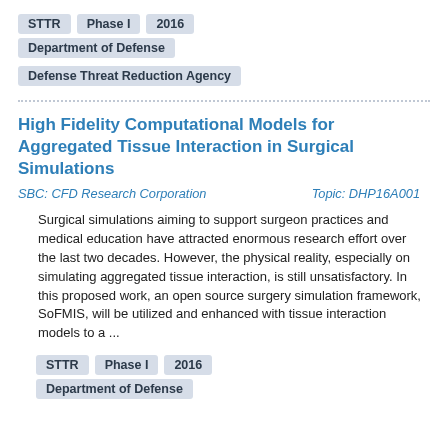STTR  Phase I  2016
Department of Defense
Defense Threat Reduction Agency
High Fidelity Computational Models for Aggregated Tissue Interaction in Surgical Simulations
SBC: CFD Research Corporation        Topic: DHP16A001
Surgical simulations aiming to support surgeon practices and medical education have attracted enormous research effort over the last two decades. However, the physical reality, especially on simulating aggregated tissue interaction, is still unsatisfactory. In this proposed work, an open source surgery simulation framework, SoFMIS, will be utilized and enhanced with tissue interaction models to a ...
STTR  Phase I  2016
Department of Defense